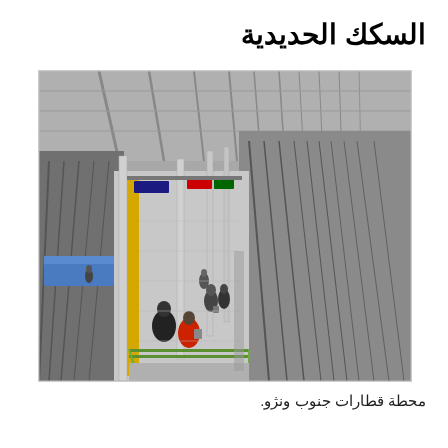السكك الحديدية
[Figure (photo): Interior view of Wenzhou South Railway Station platform showing multiple railway tracks, a long covered platform, station signage, and people walking on the platform. The photo is taken from an elevated angle looking down the length of the platform.]
محطة قطارات جنوب ونژو.